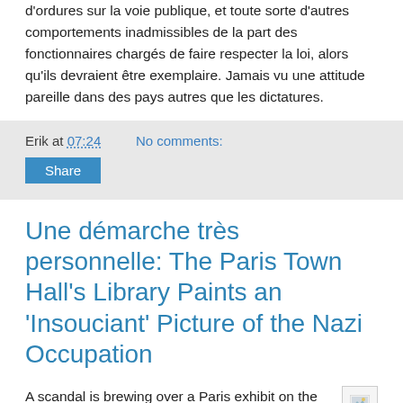d'ordures sur la voie publique, et toute sorte d'autres comportements inadmissibles de la part des fonctionnaires chargés de faire respecter la loi, alors qu'ils devraient être exemplaire. Jamais vu une attitude pareille dans des pays autres que les dictatures.
Erik at 07:24    No comments:
Share
Une démarche très personnelle: The Paris Town Hall's Library Paints an 'Insouciant' Picture of the Nazi Occupation
A scandal is brewing over a Paris exhibit on the French capital under the Occupation (Les Parisiens sous l'Occupation, photographies en couleurs d'André